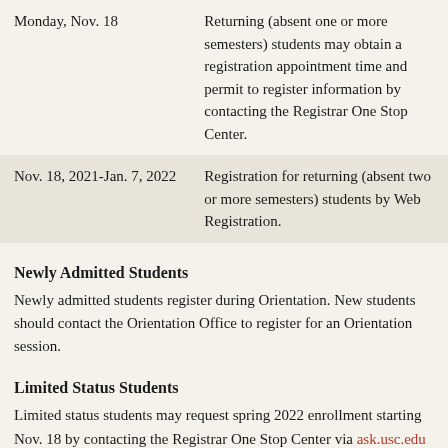| Date | Description |
| --- | --- |
| Monday, Nov. 18 | Returning (absent one or more semesters) students may obtain a registration appointment time and permit to register information by contacting the Registrar One Stop Center. |
| Nov. 18, 2021-Jan. 7, 2022 | Registration for returning (absent two or more semesters) students by Web Registration. |
Newly Admitted Students
Newly admitted students register during Orientation. New students should contact the Orientation Office to register for an Orientation session.
Limited Status Students
Limited status students may request spring 2022 enrollment starting Nov. 18 by contacting the Registrar One Stop Center via ask.usc.edu and clicking the “email us” option.